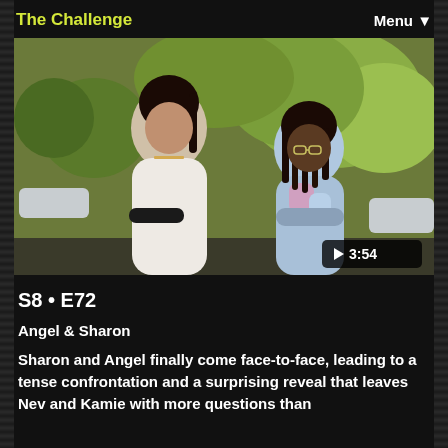The Challenge   Menu
[Figure (photo): Two women standing outdoors near trees. The woman on the left wears a white sleeveless top and holds a bag; the woman on the right wears a blue/pink tie-dye hoodie with arms crossed. A video play button badge shows '▶ 3:54' in the bottom right corner.]
S8 • E72
Angel & Sharon
Sharon and Angel finally come face-to-face, leading to a tense confrontation and a surprising reveal that leaves Nev and Kamie with more questions than